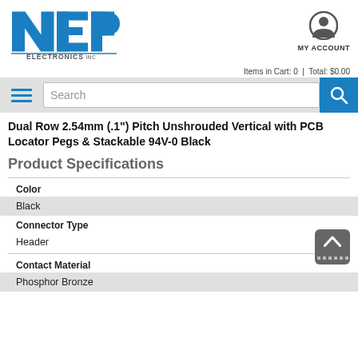[Figure (logo): NEP Electronics Inc logo — blue N and EP letters with 'ELECTRONICS INC' text below]
[Figure (illustration): My Account icon — person silhouette in circle]
MY ACCOUNT
Items in Cart: 0  |  Total: $0.00
Dual Row 2.54mm (.1") Pitch Unshrouded Vertical with PCB Locator Pegs & Stackable 94V-0 Black
Product Specifications
Color
Black
Connector Type
Header
Contact Material
Phosphor Bronze